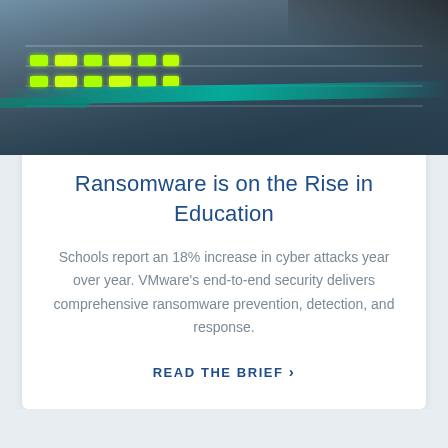[Figure (photo): Close-up photo of server rack equipment with green indicator lights and network cables being plugged in by a person in dark clothing]
Ransomware is on the Rise in Education
Schools report an 18% increase in cyber attacks year over year. VMware's end-to-end security delivers comprehensive ransomware prevention, detection, and response.
READ THE BRIEF ›
Cookie Settings